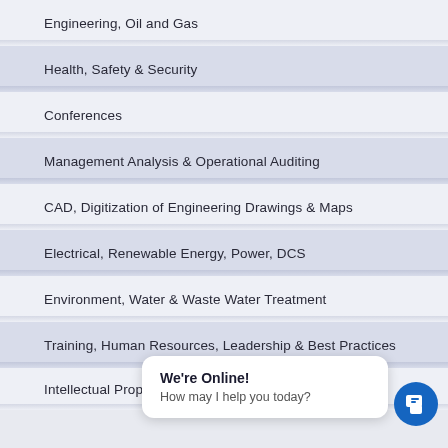Engineering, Oil and Gas
Health, Safety & Security
Conferences
Management Analysis & Operational Auditing
CAD, Digitization of Engineering Drawings & Maps
Electrical, Renewable Energy, Power, DCS
Environment, Water & Waste Water Treatment
Training, Human Resources, Leadership & Best Practices
Intellectual Property Management, R&D Management